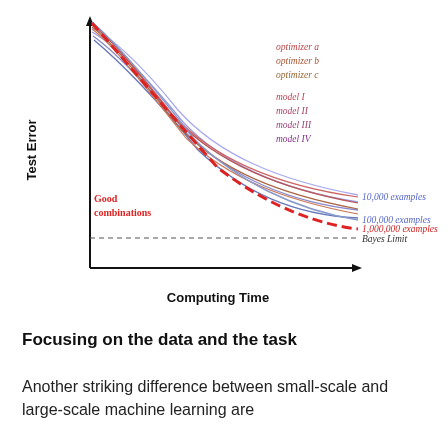[Figure (continuous-plot): A line chart showing Test Error (y-axis) vs Computing Time (x-axis). Multiple curves (in red and blue/purple shades) descend from upper left to lower right, representing different optimizer and model combinations at different dataset sizes (10,000, 100,000, 1,000,000 examples). A thick red dashed curve labeled 'Good combinations' traces the lower envelope of good model/optimizer combinations. A horizontal dashed line marks the 'Bayes Limit'. Legend on upper right lists: optimizer a, optimizer b, optimizer c (red/brown italics); model I, model II, model III, model IV (red/brown italics); 10,000 examples, 100,000 examples, 1,000,000 examples (blue italic).]
Focusing on the data and the task
Another striking difference between small-scale and large-scale machine learning are